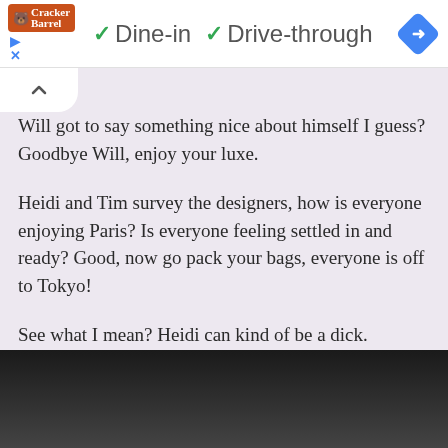[Figure (screenshot): Top navigation bar showing Cracker Barrel logo, dine-in and drive-through options with checkmarks, and a blue navigation diamond icon]
Will got to say something nice about himself I guess? Goodbye Will, enjoy your luxe.

Heidi and Tim survey the designers, how is everyone enjoying Paris? Is everyone feeling settled in and ready? Good, now go pack your bags, everyone is off to Tokyo!

See what I mean? Heidi can kind of be a dick. Everyone's excited about Tokyo, though, until then!
[Figure (photo): Dark/black image at the bottom of the page, appears to be a partially visible photograph]